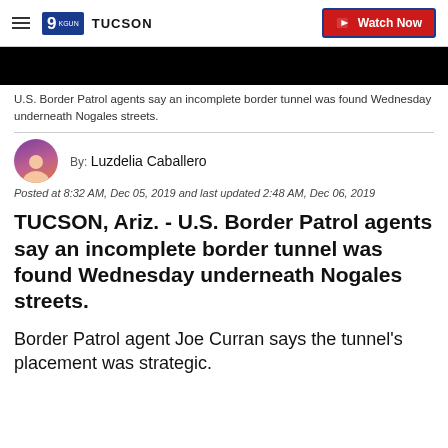9 KGUN TUCSON | Watch Now
[Figure (screenshot): Black video strip/thumbnail area]
U.S. Border Patrol agents say an incomplete border tunnel was found Wednesday underneath Nogales streets.
By: Luzdelia Caballero
Posted at 8:32 AM, Dec 05, 2019 and last updated 2:48 AM, Dec 06, 2019
TUCSON, Ariz. - U.S. Border Patrol agents say an incomplete border tunnel was found Wednesday underneath Nogales streets.
Border Patrol agent Joe Curran says the tunnel's placement was strategic.